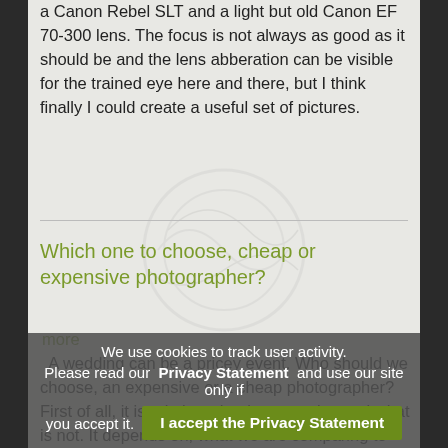a Canon Rebel SLT and a light but old Canon EF 70-300 lens. The focus is not always as good as it should be and the lens abberation can be visible for the trained eye here and there, but I think finally I could create a useful set of pictures.
Which one to choose, cheap or expensive photographer?
more
A wedding can be a pricey event. Who should we choose, an expensive or a cheap photographer? First of all, it is relative what is expensive and what is not. It depends on, what we are comparing to each other. As you can go and have a meal at Tornado Steakhouse, or get Roman Noodles in the corner shop which you have to do on your own.
We use cookies to track user activity. Please read our Privacy Statement and use our site only if you accept it.
I accept the Privacy Statement